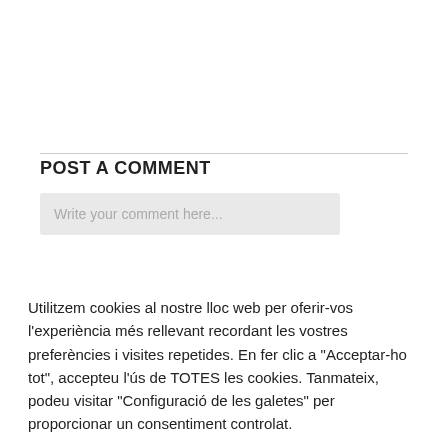POST A COMMENT
[Figure (screenshot): Comment input text field with placeholder text 'Write your comment here...']
Utilitzem cookies al nostre lloc web per oferir-vos l'experiència més rellevant recordant les vostres preferències i visites repetides. En fer clic a "Acceptar-ho tot", accepteu l'ús de TOTES les cookies. Tanmateix, podeu visitar "Configuració de les galetes" per proporcionar un consentiment controlat.
Configuració de galetes
Acceptar-ho tot